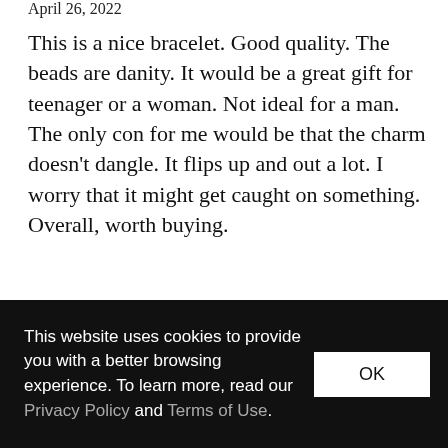April 26, 2022
This is a nice bracelet. Good quality. The beads are danity. It would be a great gift for teenager or a woman. Not ideal for a man. The only con for me would be that the charm doesn't dangle. It flips up and out a lot. I worry that it might get caught on something. Overall, worth buying.
★ ☆ ☆ ☆ ☆
Suzanne
February 8, 2022
This website uses cookies to provide you with a better browsing experience. To learn more, read our Privacy Policy and Terms of Use.